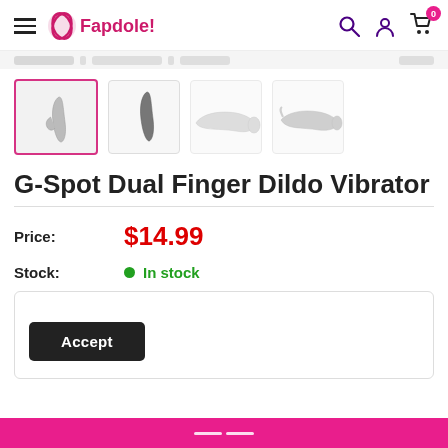Fapdole! — navigation header with hamburger menu, logo, search, account, and cart icons
[Figure (screenshot): Product thumbnail image strip showing 4 product images of a G-Spot dual finger dildo vibrator; first thumbnail is selected with pink border]
G-Spot Dual Finger Dildo Vibrator
Price: $14.99
Stock: In stock
Accept (cookie/consent box with Accept button)